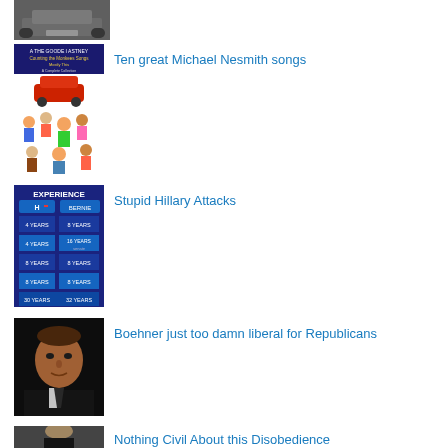[Figure (photo): Thumbnail photo of a car bumper or vehicle rear]
[Figure (photo): Book cover for a collection of Michael Nesmith songs with cartoon illustrated characters]
Ten great Michael Nesmith songs
[Figure (photo): Blue infographic comparing experience: Hillary vs. Sanders with years listed]
Stupid Hillary Attacks
[Figure (photo): Photo of John Boehner, a man in a dark suit]
Boehner just too damn liberal for Republicans
[Figure (photo): Photo of a man in a dark suit speaking at a microphone with a red tie]
Nothing Civil About this Disobedience